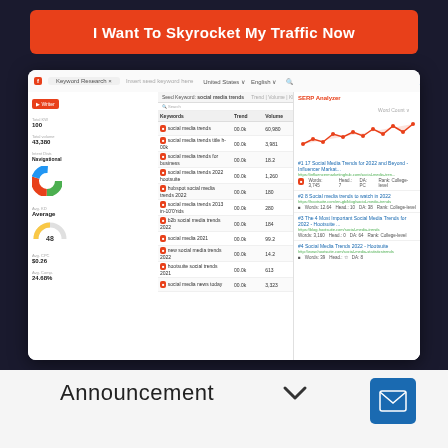I Want To Skyrocket My Traffic Now
[Figure (screenshot): Keyword Research tool dashboard screenshot showing social media trends keywords with volume, KD, CPC, competition data and SERP analysis panel on the right]
Announcement
[Figure (other): Email/envelope icon in blue square button]